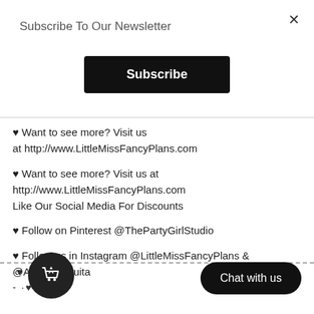×
Subscribe To Our Newsletter
Subscribe
♥ Want to see more? Visit us at http://www.LittleMissFancyPlans.com
♥ Want to see more? Visit us at http://www.LittleMissFancyPlans.com
Like Our Social Media For Discounts
♥ Follow on Pinterest @ThePartyGirlStudio
♥ Follow us in Instagram @LittleMissFancyPlans & @A WithQuita
·♥·-·-·-·-·-·-·-·-·-·-·-·-·-·-·-·-·-·-·-·-·-·-·-·-·-·-·-·-·-·-·-
- ·♥·